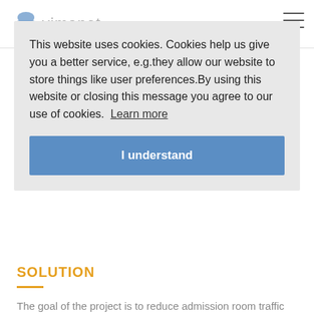vimanet
This website uses cookies. Cookies help us give you a better service, e.g.they allow our website to store things like user preferences.By using this website or closing this message you agree to our use of cookies. Learn more
I understand
SOLUTION
The goal of the project is to reduce admission room traffic